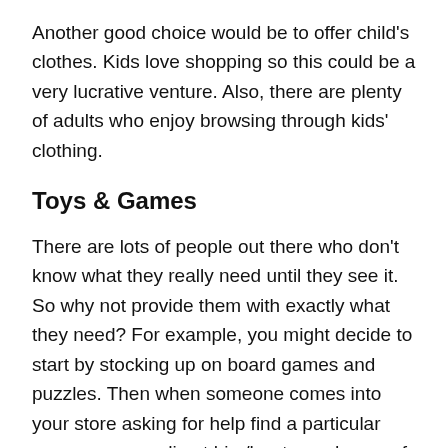Another good choice would be to offer child's clothes. Kids love shopping so this could be a very lucrative venture. Also, there are plenty of adults who enjoy browsing through kids' clothing.
Toys & Games
There are lots of people out there who don't know what they really need until they see it. So why not provide them with exactly what they need? For example, you might decide to start by stocking up on board games and puzzles. Then when someone comes into your store asking for help find a particular game, you can direct him/her towards one of these items.
This is one of the best kiosk business ideas to think about.
Books & Magazines